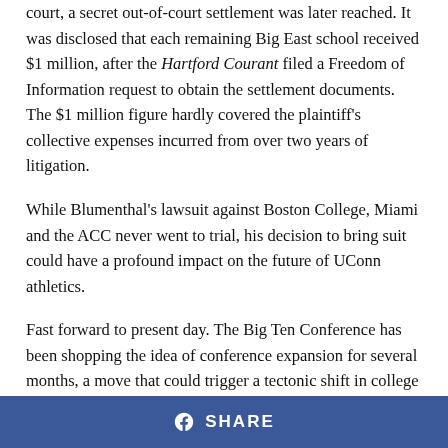court, a secret out-of-court settlement was later reached. It was disclosed that each remaining Big East school received $1 million, after the Hartford Courant filed a Freedom of Information request to obtain the settlement documents. The $1 million figure hardly covered the plaintiff's collective expenses incurred from over two years of litigation.
While Blumenthal's lawsuit against Boston College, Miami and the ACC never went to trial, his decision to bring suit could have a profound impact on the future of UConn athletics.
Fast forward to present day. The Big Ten Conference has been shopping the idea of conference expansion for several months, a move that could trigger a tectonic shift in college football's conference alignment. What first started as idle offseason speculation has quickly snowballed into serious consideration on the part of the Big Ten to expand the